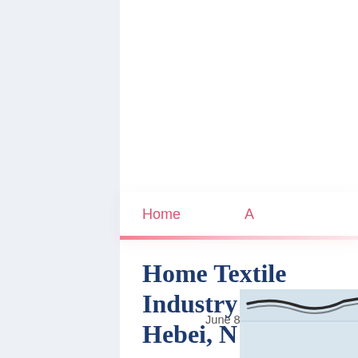Home    A
Home Textile Indu... Hebei, N China
June 8, 2020
[Figure (photo): Partial photo of home textile product, bottom right corner]